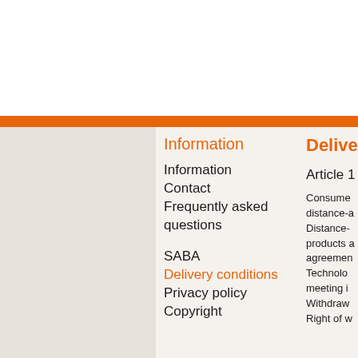Information
Information
Contact
Frequently asked questions
SABA
Delivery conditions
Privacy policy
Copyright
Delive
Article 1
Consumer distance-a Distance- products a agreemen Technolo meeting i Withdraw Right of w